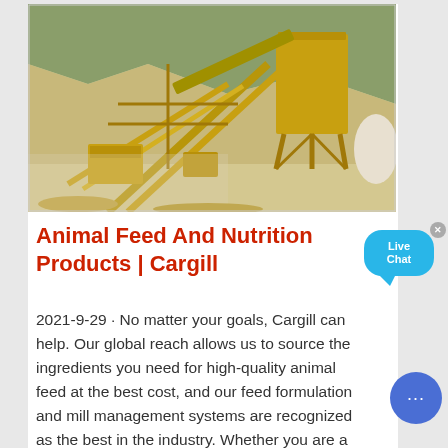[Figure (photo): Industrial mining or quarrying plant with large yellow conveyor belts, silos, and processing equipment on a rocky terrain background.]
Animal Feed And Nutrition Products | Cargill
2021-9-29 · No matter your goals, Cargill can help. Our global reach allows us to source the ingredients you need for high-quality animal feed at the best cost, and our feed formulation and mill management systems are recognized as the best in the industry. Whether you are a producer looking for nutrition and